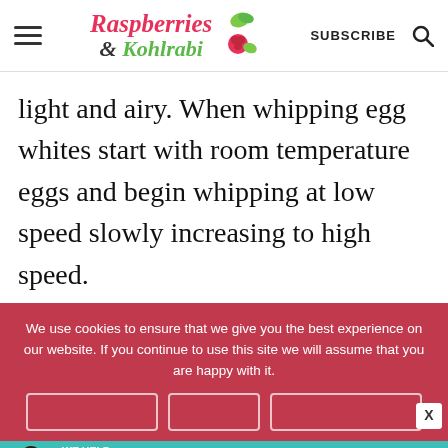Raspberries & Kohlrabi — SUBSCRIBE
light and airy. When whipping egg whites start with room temperature eggs and begin whipping at low speed slowly increasing to high speed.
We use cookies to ensure that we give you the best experience on our website. If you continue to use this site we will assume that you are happy with it.
[Figure (infographic): SHE Partner Network advertisement banner: We help content creators grow businesses through... Learn More]
[Figure (logo): Raspberries & Kohlrabi website logo with berry and kohlrabi illustration]